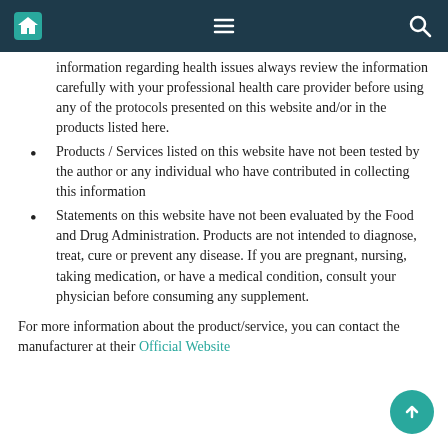Navigation bar with home, menu, and search icons
information regarding health issues always review the information carefully with your professional health care provider before using any of the protocols presented on this website and/or in the products listed here.
Products / Services listed on this website have not been tested by the author or any individual who have contributed in collecting this information
Statements on this website have not been evaluated by the Food and Drug Administration. Products are not intended to diagnose, treat, cure or prevent any disease. If you are pregnant, nursing, taking medication, or have a medical condition, consult your physician before consuming any supplement.
For more information about the product/service, you can contact the manufacturer at their Official Website